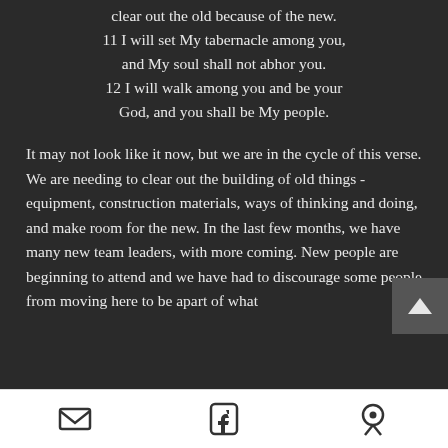clear out the old because of the new.
11 I will set My tabernacle among you, and My soul shall not abhor you.
12 I will walk among you and be your God, and you shall be My people.
It may not look like it now, but we are in the cycle of this verse. We are needing to clear out the building of old things - equipment, construction materials, ways of thinking and doing, and make room for the new. In the last few months, we have many new team leaders, with more coming. New people are beginning to attend and we have had to discourage some people from moving here to be apart of what
[email icon] [facebook icon] [location icon]